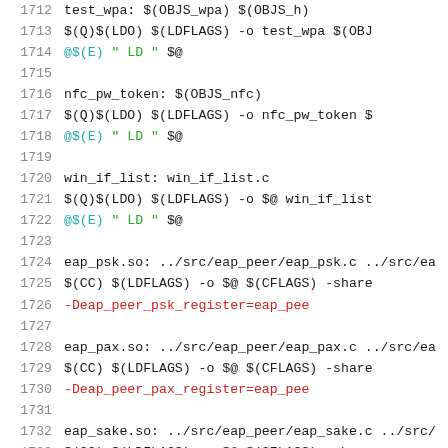Code listing lines 1712-1733, Makefile source code showing build targets: test_wpa, nfc_pw_token, win_if_list, eap_psk.so, eap_pax.so, eap_sake.so with their respective compiler and linker commands.